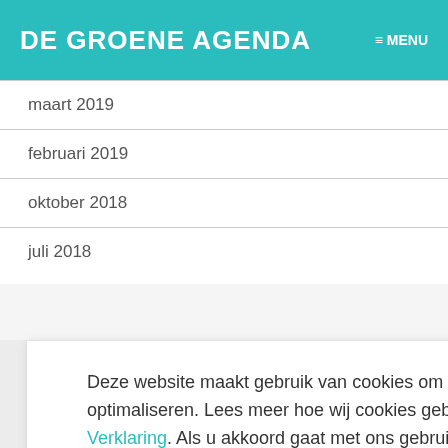DE GROENE AGENDA  ≡ MENU
maart 2019
februari 2019
oktober 2018
juli 2018
Deze website maakt gebruik van cookies om uw gebruikservaring te optimaliseren. Lees meer hoe wij cookies gebruiken in onze Privacy Verklaring. Als u akkoord gaat met ons gebruik van cookies, klikt u op OK.